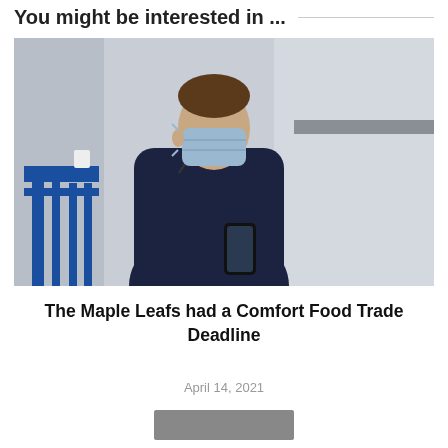You might be interested in ...
[Figure (photo): A man wearing a blue face mask standing by a blue railing, holding glasses in one hand and a smartphone in the other, viewed from the side in an indoor sports or arena setting with grey walls in the background.]
The Maple Leafs had a Comfort Food Trade Deadline
April 14, 2021